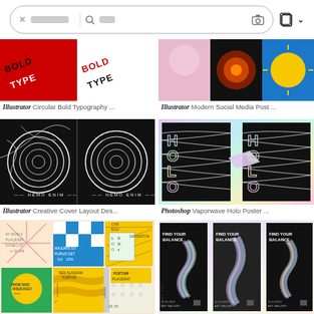[Figure (screenshot): Search bar UI with X button, gray redacted text, search icon, camera icon, copy icon, and chevron dropdown]
[Figure (photo): Illustrator Circular Bold Typography template thumbnail - red and white design]
[Figure (photo): Illustrator Modern Social Media Post template thumbnail - blue, black, yellow design]
Illustrator Circular Bold Typography ...
Illustrator Modern Social Media Post ...
[Figure (photo): Illustrator Creative Cover Layout Design thumbnail - black and white spiral optical illusion with NEMO ENIM text]
[Figure (photo): Photoshop Vaporwave Holo Poster thumbnail - holographic HOLO text on wavy lines background]
Illustrator Creative Cover Layout Des...
Photoshop Vaporwave Holo Poster ...
[Figure (photo): Bottom left thumbnail - colorful poster layout with lorem ipsum placeholder text, blue/green/yellow/pink squares]
[Figure (photo): Bottom right thumbnail - holographic Find Your Balance poster design, dark background with iridescent foil effect]